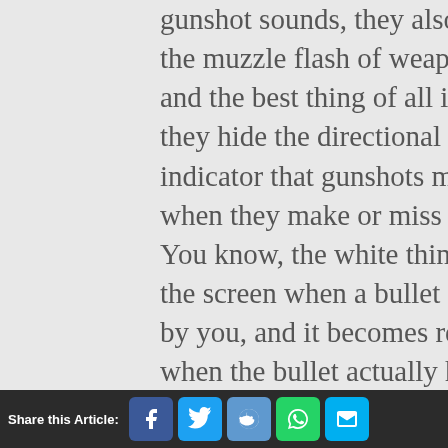gunshot sounds, they also hide the muzzle flash of weapons, and the best thing of all is that they hide the directional threat indicator that gunshots make when they make or miss a shot. You know, the white thing on the screen when a bullet flies by you, and it becomes red when the bullet actually hits you. With a suppressor, your enemies won't know where you're hitting them from unless they actually see you. And this is a great partner for Azami's Kiba Barriers because they will limit the view of the enemies, it'll be much harder for them to see you.
Share this Article: